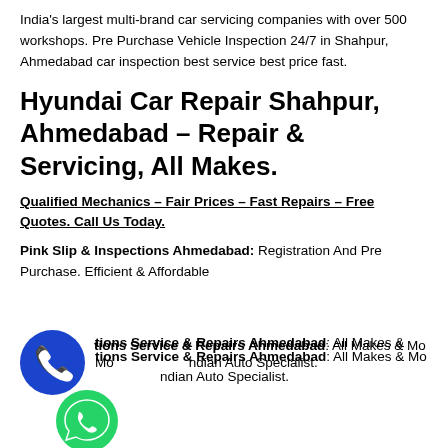India's largest multi-brand car servicing companies with over 500 workshops. Pre Purchase Vehicle Inspection 24/7 in Shahpur, Ahmedabad car inspection best service best price fast.
Hyundai Car Repair Shahpur, Ahmedabad – Repair & Servicing, All Makes.
Qualified Mechanics – Fair Prices – Fast Repairs – Free Quotes. Call Us Today.
Pink Slip & Inspections Ahmedabad: Registration And Pre Purchase. Efficient & Affordable
[Figure (illustration): Blue circular phone/call icon button]
tions Service & Repairs Ahmedabad: All Makes & Models. Indian Auto Specialist.
[Figure (illustration): Green circular WhatsApp icon button]